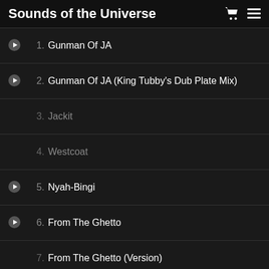Sounds of the Universe
1. Gunman Of JA
2. Gunman Of JA (King Tubby's Dub Plate Mix)
3. Jackit
4. Westcoat
5. Nyah-Bingi
6. From The Ghetto
7. From The Ghetto (Version)
8. Feeling Is Believing
9. Feeling Is Believing (Version)
10. Give Thanks And Praise
11. Tell The Youths The Truth
12. Majority Rule
13. Majority Rule (Version)
14. Bridge The Gap